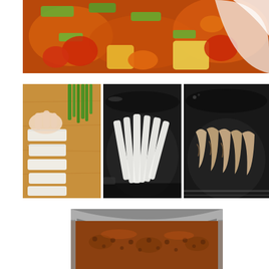[Figure (photo): Close-up of a stir-fry dish with colorful vegetables including celery, tomatoes, peppers, and pineapple chunks in a sauce, served in a white dish.]
[Figure (photo): Hands cutting white tofu or similar ingredient into strips on a wooden cutting board, with green onions/chives visible in the background.]
[Figure (photo): White strips of tofu or similar ingredient arranged in a dark wok or frying pan, uncooked.]
[Figure (photo): Cooked/browned strips of tofu or similar ingredient in a dark wok or frying pan on a stovetop.]
[Figure (photo): Close-up of a sauce or stew with ground meat/minced ingredients bubbling in a large metal pot or wok.]